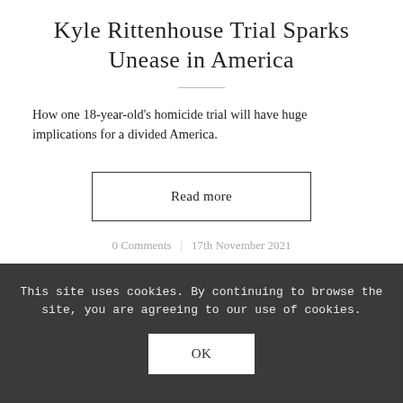Kyle Rittenhouse Trial Sparks Unease in America
How one 18-year-old's homicide trial will have huge implications for a divided America.
Read more
0 Comments  17th November 2021
This site uses cookies. By continuing to browse the site, you are agreeing to our use of cookies.
OK